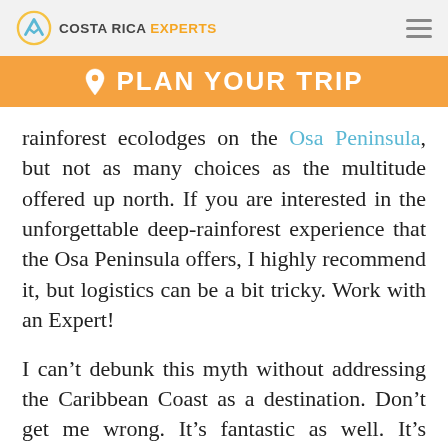COSTA RICA EXPERTS
PLAN YOUR TRIP
rainforest ecolodges on the Osa Peninsula, but not as many choices as the multitude offered up north. If you are interested in the unforgettable deep-rainforest experience that the Osa Peninsula offers, I highly recommend it, but logistics can be a bit tricky. Work with an Expert!
I can’t debunk this myth without addressing the Caribbean Coast as a destination. Don’t get me wrong. It’s fantastic as well. It’s mainly divided into two major sections, Tortuguero National